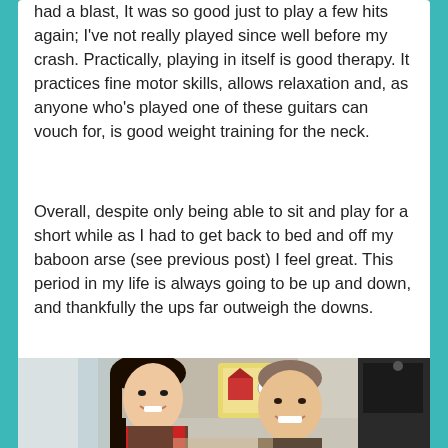had a blast, It was so good just to play a few hits again; I've not really played since well before my crash. Practically, playing in itself is good therapy. It practices fine motor skills, allows relaxation and, as anyone who's played one of these guitars can vouch for, is good weight training for the neck.
Overall, despite only being able to sit and play for a short while as I had to get back to bed and off my baboon arse (see previous post) I feel great. This period in my life is always going to be up and down, and thankfully the ups far outweigh the downs.
[Figure (photo): Two people smiling together in what appears to be a hospital or care room. A young woman with long dark hair on the left and a young man on the right. Background shows a colorful farm animal puzzle poster and medical equipment.]